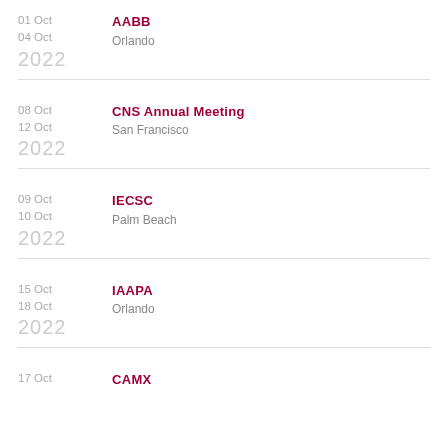01 Oct – 04 Oct 2022 | AABB | Orlando
08 Oct – 12 Oct 2022 | CNS Annual Meeting | San Francisco
09 Oct – 10 Oct 2022 | IECSC | Palm Beach
15 Oct – 18 Oct 2022 | IAAPA | Orlando
17 Oct | CAMX